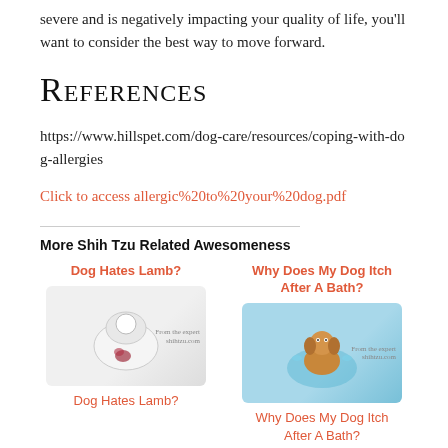severe and is negatively impacting your quality of life, you'll want to consider the best way to move forward.
References
https://www.hillspet.com/dog-care/resources/coping-with-dog-allergies
Click to access allergic%20to%20your%20dog.pdf
More Shih Tzu Related Awesomeness
[Figure (illustration): Illustration for 'Dog Hates Lamb?' article card with decorative title text and small dog-related image]
[Figure (illustration): Illustration for 'Why Does My Dog Itch After A Bath?' article card with decorative title text and cartoon dog in bath image]
Dog Hates Lamb?
Why Does My Dog Itch After A Bath?